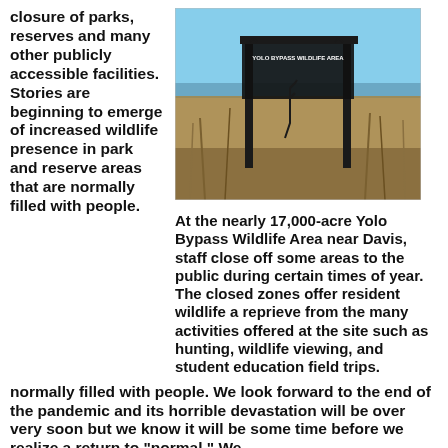closure of parks, reserves and many other publicly accessible facilities. Stories are beginning to emerge of increased wildlife presence in park and reserve areas that are normally filled with people.
[Figure (photo): Photo of the Yolo Bypass Wildlife Area sign standing in a wetland with marsh grasses and open water in the background, blue sky above.]
At the nearly 17,000-acre Yolo Bypass Wildlife Area near Davis, staff close off some areas to the public during certain times of year. The closed zones offer resident wildlife a reprieve from the many activities offered at the site such as hunting, wildlife viewing, and student education field trips.
We look forward to the end of the pandemic and its horrible devastation will be over very soon but we know it will be some time before we realize a return to “normal.” We